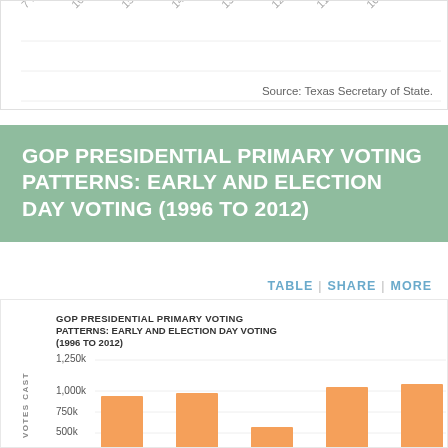Source: Texas Secretary of State.
GOP PRESIDENTIAL PRIMARY VOTING PATTERNS: EARLY AND ELECTION DAY VOTING (1996 TO 2012)
TABLE | SHARE | MORE
[Figure (bar-chart): GOP PRESIDENTIAL PRIMARY VOTING PATTERNS: EARLY AND ELECTION DAY VOTING (1996 TO 2012)]